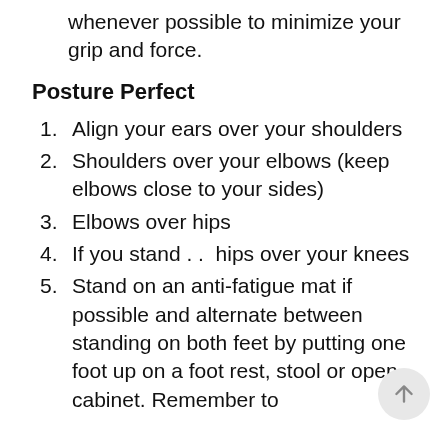whenever possible to minimize your grip and force.
Posture Perfect
Align your ears over your shoulders
Shoulders over your elbows (keep elbows close to your sides)
Elbows over hips
If you stand . .  hips over your knees
Stand on an anti-fatigue mat if possible and alternate between standing on both feet by putting one foot up on a foot rest, stool or open cabinet. Remember to switch feet every often. Thi...